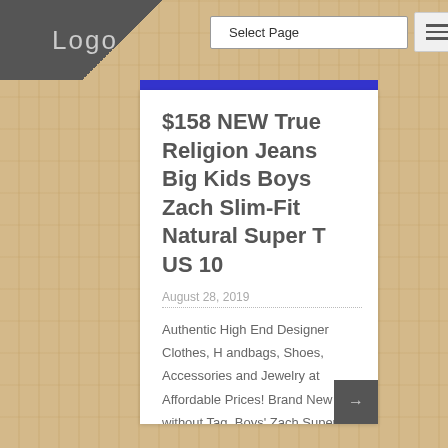[Figure (screenshot): Website navigation bar with Logo on dark diagonal background, Select Page dropdown, and hamburger menu icon]
$158 NEW True Religion Jeans Big Kids Boys Zach Slim-Fit Natural Super T US 10
August 28, 2019
Authentic High End Designer Clothes, Handbags, Shoes, Accessories and Jewelry at Affordable Prices! Brand New without Tag. Boys' Zach Super-T Slim-Fit Straight Leg in Natural Super T Thread. Wash: Shade Horizons-Medium wash with rigorous stone washing and sanding carries out a naturally worn appearance on a soft 100% cotton denim. US Big Boys 10. [...]